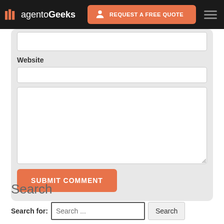magentoGeeks — REQUEST A FREE QUOTE
Website
SUBMIT COMMENT
Search
Search for: Search ...  Search